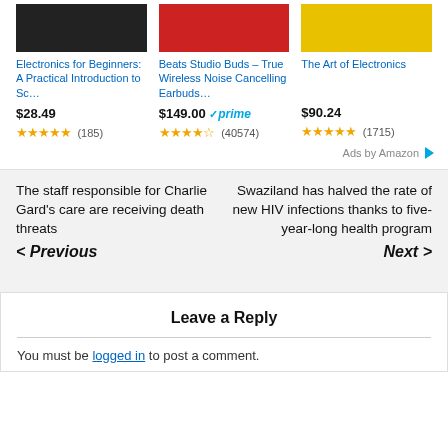[Figure (screenshot): Amazon ad showing three products: Electronics for Beginners book at $28.49 with 4.5 stars (185 reviews), Beats Studio Buds earbuds at $149.00 with Prime badge and 4 stars (40574 reviews), The Art of Electronics at $90.24 with 5 stars (1715 reviews)]
The staff responsible for Charlie Gard's care are receiving death threats
< Previous
Swaziland has halved the rate of new HIV infections thanks to five-year-long health program
Next >
Leave a Reply
You must be logged in to post a comment.